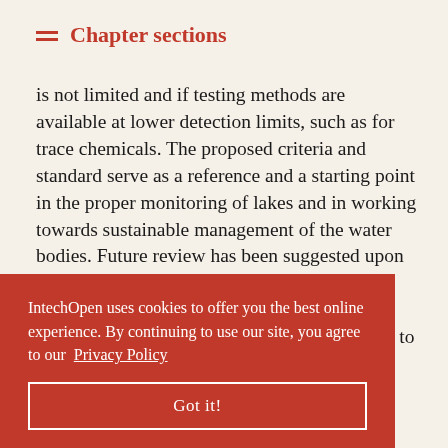Chapter sections
is not limited and if testing methods are available at lower detection limits, such as for trace chemicals. The proposed criteria and standard serve as a reference and a starting point in the proper monitoring of lakes and in working towards sustainable management of the water bodies. Future review has been suggested upon the availability of more data from monitoring efforts, and possibly to expand the standard further from water quality-based management to ecologically [aquatic] [will evolve] [ing program] [on to]
IntechOpen uses cookies to offer you the best online experience. By continuing to use our site, you agree to our Privacy Policy
Got it!